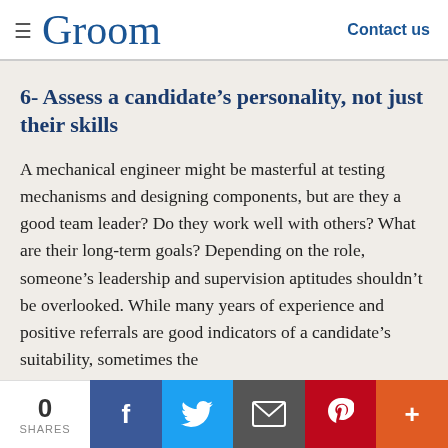Groom   Contact us
6- Assess a candidate’s personality, not just their skills
A mechanical engineer might be masterful at testing mechanisms and designing components, but are they a good team leader? Do they work well with others? What are their long-term goals? Depending on the role, someone’s leadership and supervision aptitudes shouldn’t be overlooked. While many years of experience and positive referrals are good indicators of a candidate’s suitability, sometimes the
0 SHARES  f  Twitter  Email  Pinterest  +